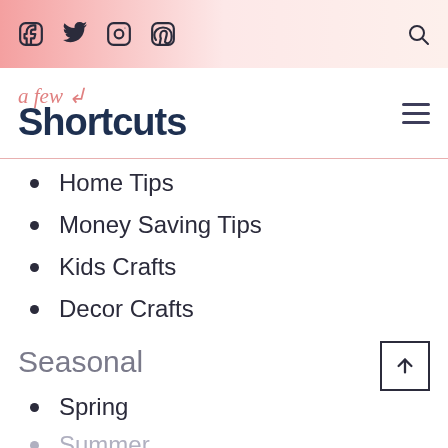Social icons: Facebook, Twitter, Instagram, Pinterest, Search
[Figure (logo): A Few Shortcuts blog logo with script 'a few' in coral and bold dark navy 'Shortcuts']
Home Tips
Money Saving Tips
Kids Crafts
Decor Crafts
Seasonal
Spring
Summer
Patriotic Recipes (partial)